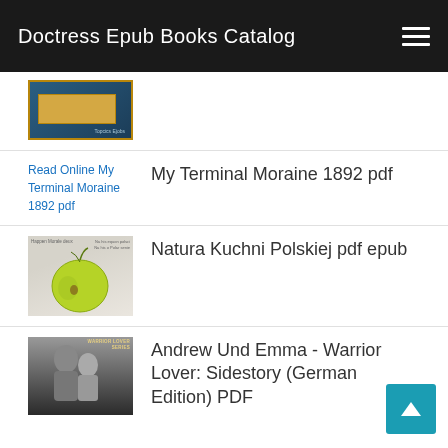Doctress Epub Books Catalog
[Figure (illustration): Partial book cover image at top of page, dark teal with decorative border and gold label area]
[Figure (illustration): Broken image placeholder link: Read Online My Terminal Moraine 1892 pdf]
My Terminal Moraine 1892 pdf
[Figure (illustration): Book cover for Natura Kuchni Polskiej showing a green apple on light background with text]
Natura Kuchni Polskiej pdf epub
[Figure (illustration): Book cover for Andrew Und Emma - Warrior Lover: Sidestory showing couple, dark tones, Warrior Lover Series text]
Andrew Und Emma - Warrior Lover: Sidestory (German Edition) PDF